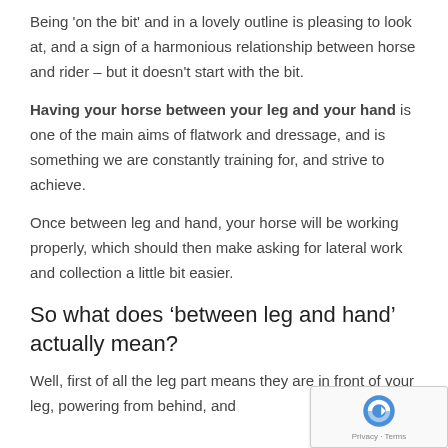Being 'on the bit' and in a lovely outline is pleasing to look at, and a sign of a harmonious relationship between horse and rider – but it doesn't start with the bit.
Having your horse between your leg and your hand is one of the main aims of flatwork and dressage, and is something we are constantly training for, and strive to achieve.
Once between leg and hand, your horse will be working properly, which should then make asking for lateral work and collection a little bit easier.
So what does ‘between leg and hand’ actually mean?
Well, first of all the leg part means they are in front of your leg, powering from behind, and